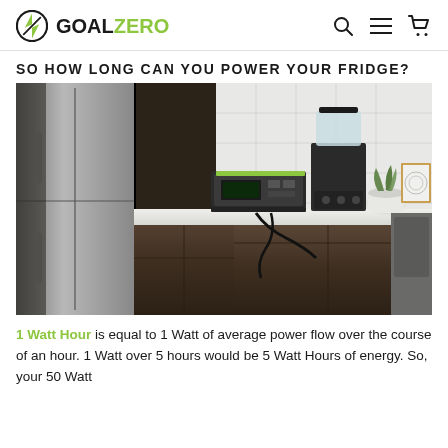GOAL ZERO
SO HOW LONG CAN YOU POWER YOUR FRIDGE?
[Figure (photo): Kitchen counter scene with a Goal Zero portable power station connected to a blender, with a small potted plant and framed artwork in the background, and a stainless steel refrigerator on the left.]
1 Watt Hour is equal to 1 Watt of average power flow over the course of an hour. 1 Watt over 5 hours would be 5 Watt Hours of energy. So, your 50 Watt